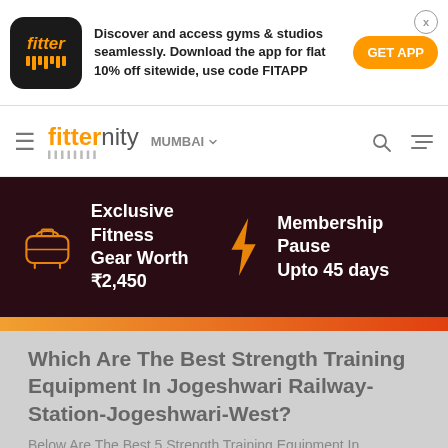[Figure (screenshot): Fitter app logo - black rounded square with orange fitter text and orange bars]
Discover and access gyms & studios seamlessly. Download the app for flat 10% off sitewide, use code FITAPP
GET APP
fitternity MUMBAI
[Figure (infographic): Dark maroon promo banner with two items: gym bag icon with text 'Exclusive Fitness Gear Worth ₹2,450' and lightning bolt icon with text 'Membership Pause Upto 45 days']
Which Are The Best Strength Training Equipment In Jogeshwari Railway-Station-Jogeshwari-West?
Below Are The Best 5 Strength Training Equipment In Jogeshwari Railway-Station-